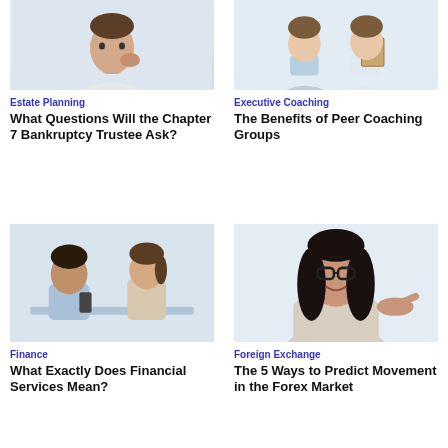[Figure (photo): Man in white shirt with hand on chin, thinking pose]
Estate Planning
What Questions Will the Chapter 7 Bankruptcy Trustee Ask?
[Figure (photo): Two women in professional attire, one holding a clipboard/folder]
Executive Coaching
The Benefits of Peer Coaching Groups
[Figure (photo): Man and woman at desk looking at phone or device]
Finance
What Exactly Does Financial Services Mean?
[Figure (photo): Smiling woman with glasses and long dark hair pointing]
Foreign Exchange
The 5 Ways to Predict Movement in the Forex Market